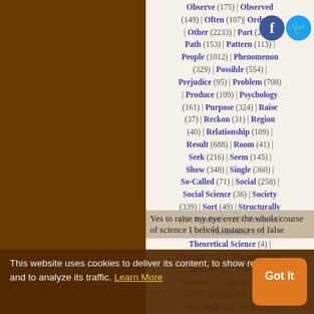Observe (175) | Observed (149) | Often (107) | Order (85) | Follow | Other (2233) | Part (228) | Path (153) | Pattern (113) | People (1012) | Phenomenon (329) | Possible (554) | Prejudice (95) | Problem (708) | Produce (109) | Psychology (161) | Purpose (324) | Raise (37) | Reckon (31) | Region (40) | Relationship (109) | Result (688) | Room (41) | Seek (216) | Seem (145) | Show (348) | Single (360) | So-Called (71) | Social (258) | Social Science (36) | Society (339) | Sort (49) | Structurally (2) | Synthetic (26) | Technical (51) | Theoretical (23) | Theoretical Science (4) | Thought (967) | Through (846) | Totality (16) | Track (41) | Traverse (5) | Try (286) | Type (167) | Way (1214) | Whole (746) | Wild (91) | Will (2352)
This website uses cookies to deliver its content, to show relevant ads and to analyze its traffic. Learn More
Yes to raise my eye over the whole course of science I behold instances of false